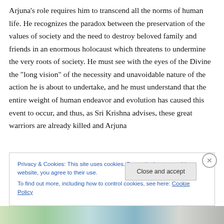Arjuna's role requires him to transcend all the norms of human life. He recognizes the paradox between the preservation of the values of society and the need to destroy beloved family and friends in an enormous holocaust which threatens to undermine the very roots of society. He must see with the eyes of the Divine the “long vision” of the necessity and unavoidable nature of the action he is about to undertake, and he must understand that the entire weight of human endeavor and evolution has caused this event to occur, and thus, as Sri Krishna advises, these great warriors are already killed and Arjuna
Privacy & Cookies: This site uses cookies. By continuing to use this website, you agree to their use.
To find out more, including how to control cookies, see here: Cookie Policy
Close and accept
[Figure (photo): Partial image strip visible at the bottom of the page, showing colorful imagery partially obscured by the cookie banner.]